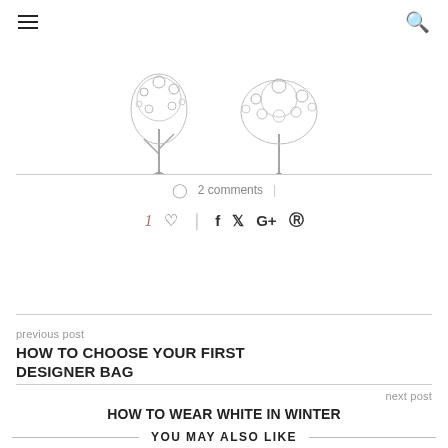≡  🔍
[Figure (illustration): Two partially visible decorative floral/branch arrangements on white background, cropped at top]
2 comments
1 ♡  |  f  t  G+  ⊕
previous post
HOW TO CHOOSE YOUR FIRST DESIGNER BAG
next post
HOW TO WEAR WHITE IN WINTER
YOU MAY ALSO LIKE